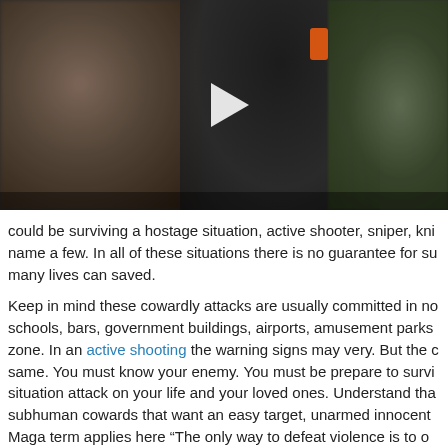[Figure (photo): Video thumbnail showing people in a self-defense or martial arts setting. Left: a woman with dark hair wearing a black shirt. Center: a person in black holding an orange object, with a white play button triangle overlay. Right: a person near green plants. Scene appears to be in a gym or training facility.]
could be surviving a hostage situation, active shooter, sniper, kni name a few. In all of these situations there is no guarantee for su many lives can saved.
Keep in mind these cowardly attacks are usually committed in no schools, bars, government buildings, airports, amusement parks zone. In an active shooting the warning signs may very. But the c same. You must know your enemy. You must be prepare to survi situation attack on your life and your loved ones. Understand tha subhuman cowards that want an easy target, unarmed innocent Maga term applies here “The only way to defeat violence is to ov violence.